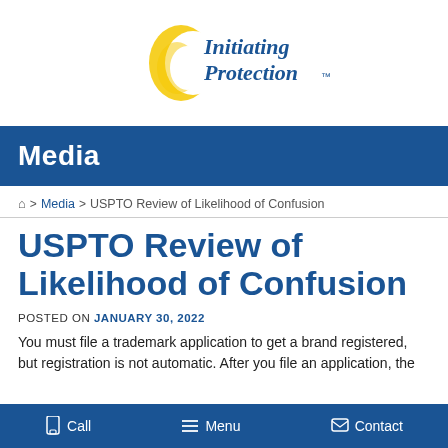[Figure (logo): Initiating Protection logo with yellow crescent moon shape and blue italic text reading 'Initiating Protection™']
Media
🏠 > Media > USPTO Review of Likelihood of Confusion
USPTO Review of Likelihood of Confusion
POSTED ON JANUARY 30, 2022
You must file a trademark application to get a brand registered, but registration is not automatic. After you file an application, the
Call   Menu   Contact